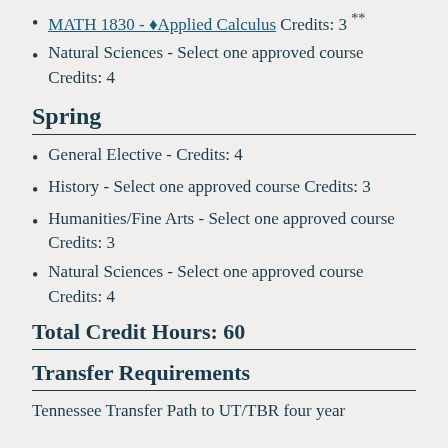MATH 1830 - ♦Applied Calculus Credits: 3 **
Natural Sciences - Select one approved course Credits: 4
Spring
General Elective - Credits: 4
History - Select one approved course Credits: 3
Humanities/Fine Arts - Select one approved course Credits: 3
Natural Sciences - Select one approved course Credits: 4
Total Credit Hours: 60
Transfer Requirements
Tennessee Transfer Path to UT/TBR four year